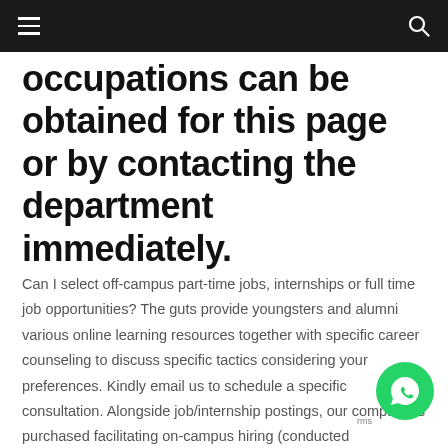occupations can be obtained for this page or by contacting the department immediately.
Can I select off-campus part-time jobs, internships or full time job opportunities? The guts provide youngsters and alumni various online learning resources together with specific career counseling to discuss specific tactics considering your preferences. Kindly email us to schedule a specific consultation. Alongside job/internship postings, our company is purchased facilitating on-campus hiring (conducted October/November and March/April), job/internship fairs (February/March) and organizing